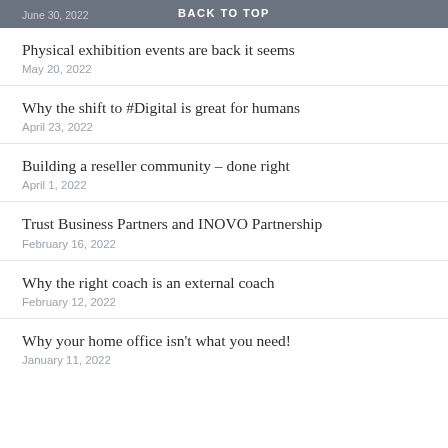June 30, 2022   BACK TO TOP
Physical exhibition events are back it seems
May 20, 2022
Why the shift to #Digital is great for humans
April 23, 2022
Building a reseller community – done right
April 1, 2022
Trust Business Partners and INOVO Partnership
February 16, 2022
Why the right coach is an external coach
February 12, 2022
Why your home office isn't what you need!
January 11, 2022